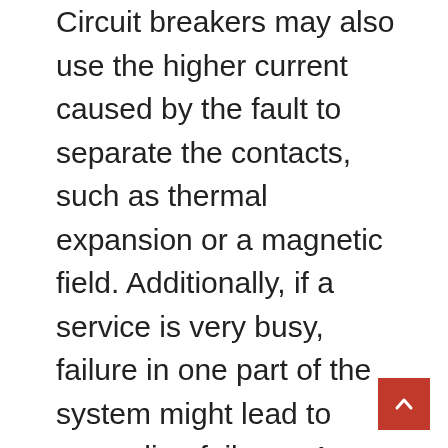Circuit breakers may also use the higher current caused by the fault to separate the contacts, such as thermal expansion or a magnetic field. Additionally, if a service is very busy, failure in one part of the system might lead to cascading failures. A shunt-trip unit appears similar to a normal breaker and the moving actuators are ‘ganged’ to a normal breaker mechanism to operate together in a similar way, but the shunt trip is a solenoid intended to be operated by an external constant voltage signal, rather than a current, commonly the local mains voltage or DC. These are often used to cut the power when a high risk event occurs, such as a fire or flood alarm, or another electrical condition, such as over voltage detection. This is useful because it allows us to deal